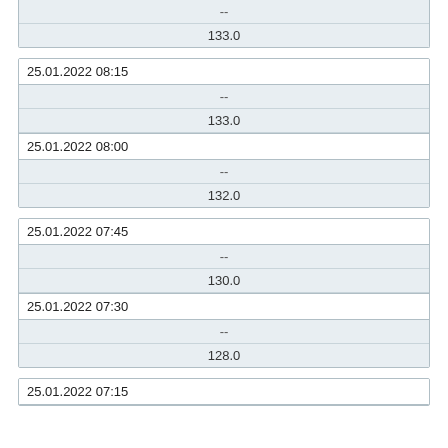| -- |
| 133.0 |
| 25.01.2022 08:15 |
| --- |
| -- |
| 133.0 |
| 25.01.2022 08:00 |
| -- |
| 132.0 |
| 25.01.2022 07:45 |
| --- |
| -- |
| 130.0 |
| 25.01.2022 07:30 |
| -- |
| 128.0 |
| 25.01.2022 07:15 |
| --- |